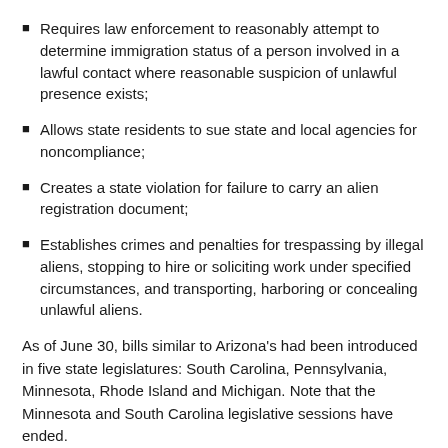Requires law enforcement to reasonably attempt to determine immigration status of a person involved in a lawful contact where reasonable suspicion of unlawful presence exists;
Allows state residents to sue state and local agencies for noncompliance;
Creates a state violation for failure to carry an alien registration document;
Establishes crimes and penalties for trespassing by illegal aliens, stopping to hire or soliciting work under specified circumstances, and transporting, harboring or concealing unlawful aliens.
As of June 30, bills similar to Arizona's had been introduced in five state legislatures: South Carolina, Pennsylvania, Minnesota, Rhode Island and Michigan. Note that the Minnesota and South Carolina legislative sessions have ended.
"State lawmakers are forced to have to pick up the pieces of